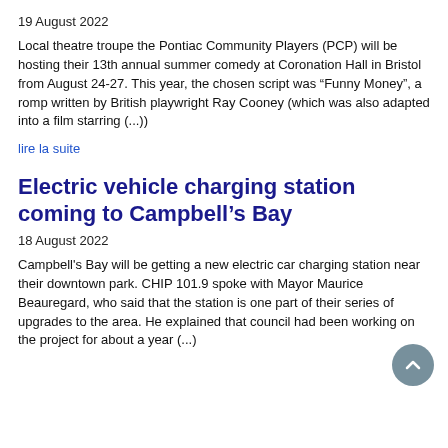19 August 2022
Local theatre troupe the Pontiac Community Players (PCP) will be hosting their 13th annual summer comedy at Coronation Hall in Bristol from August 24-27. This year, the chosen script was “Funny Money”, a romp written by British playwright Ray Cooney (which was also adapted into a film starring (...))
lire la suite
Electric vehicle charging station coming to Campbell’s Bay
18 August 2022
Campbell's Bay will be getting a new electric car charging station near their downtown park. CHIP 101.9 spoke with Mayor Maurice Beauregard, who said that the station is one part of their series of upgrades to the area. He explained that council had been working on the project for about a year (...)